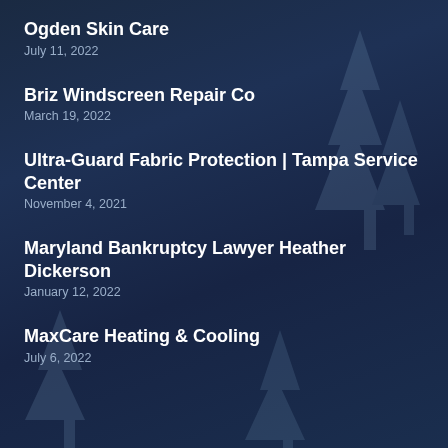Ogden Skin Care
July 11, 2022
Briz Windscreen Repair Co
March 19, 2022
Ultra-Guard Fabric Protection | Tampa Service Center
November 4, 2021
Maryland Bankruptcy Lawyer Heather Dickerson
January 12, 2022
MaxCare Heating & Cooling
July 6, 2022